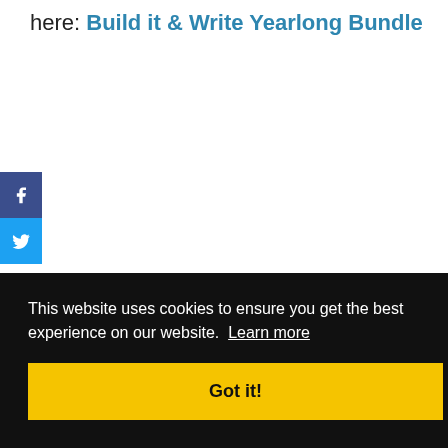here: Build it & Write Yearlong Bundle
[Figure (other): Facebook share button icon on dark blue background]
[Figure (other): Twitter share button icon on light blue background]
This website uses cookies to ensure you get the best experience on our website.  Learn more
Got it!